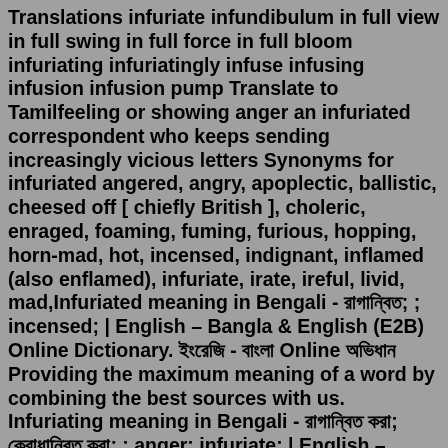Translations infuriate infundibulum in full view in full swing in full force in full bloom infuriating infuriatingly infuse infusing infusion infusion pump Translate to Tamilfeeling or showing anger an infuriated correspondent who keeps sending increasingly vicious letters Synonyms for infuriated angered, angry, apoplectic, ballistic, cheesed off [ chiefly British ], choleric, enraged, foaming, fuming, furious, hopping, horn-mad, hot, incensed, indignant, inflamed (also enflamed), infuriate, irate, ireful, livid, mad,Infuriated meaning in Bengali - রাগান্বিত; ; incensed; | English – Bangla & English (E2B) Online Dictionary. ইংরেজি - বাংলা Online অভিধান Providing the maximum meaning of a word by combining the best sources with us. Infuriating meaning in Bengali - রাগান্বিত করা; ক্রোধান্বিত করা; ; anger; infuriate; | English – Bangla & English (E2B) Online Dictionary. ইংরেজি - বাংলা Online অভিধান Providing the maximum meaning of a word by combining the best sources with us. angry meaning in Bengali. /adjective/ filled with a feeling or expressing anger; also, brief (of